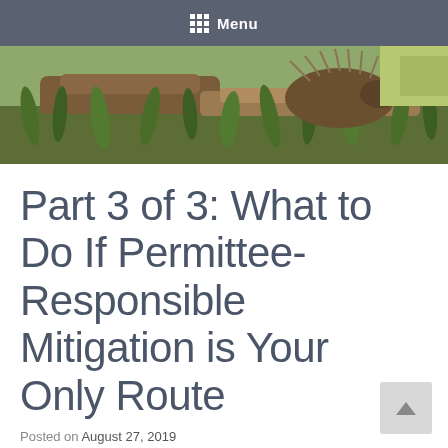Menu
[Figure (photo): Outdoor nature photo showing grass, logs, and what appears to be a porcupine or similar animal in a natural setting]
Part 3 of 3: What to Do If Permittee-Responsible Mitigation is Your Only Route
Posted on August 27, 2019
A plain language explanation of the PRM